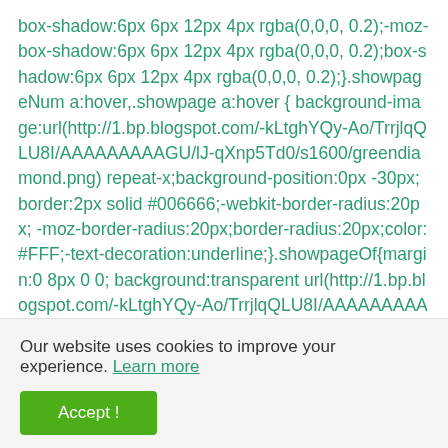box-shadow:6px 6px 12px 4px rgba(0,0,0, 0.2);-moz-box-shadow:6px 6px 12px 4px rgba(0,0,0, 0.2);box-shadow:6px 6px 12px 4px rgba(0,0,0, 0.2);}.showpageNum a:hover,.showpage a:hover { background-image:url(http://1.bp.blogspot.com/-kLtghYQy-Ao/TrrjlqQLU8I/AAAAAAAAAGU/lJ-qXnp5Td0/s1600/greendiamond.png) repeat-x;background-position:0px -30px; border:2px solid #006666;-webkit-border-radius:20px; -moz-border-radius:20px;border-radius:20px;color:#FFF;-text-decoration:underline;}.showpageOf{margin:0 8px 0 0; background:transparent url(http://1.bp.blogspot.com/-kLtghYQy-Ao/TrrjlqQLU8I/AAAAAAAAAGU/lJ-qXnp5Td0/s1600/greendiamond.png) repeat-x;background-
Our website uses cookies to improve your experience. Learn more
Accept !